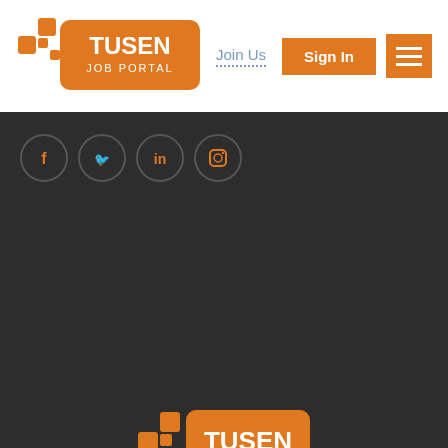[Figure (logo): Tusen Job Portal logo with orange square icon and text]
Join Us
Sign In
[Figure (other): Social media icons: Facebook, Twitter, LinkedIn, Instagram in circles on dark background]
[Figure (logo): Tusen Job Portal logo (footer version, larger)]
© 2020 Tusen Job Portal All rights reserved. Developed by Maubtec
Back to top